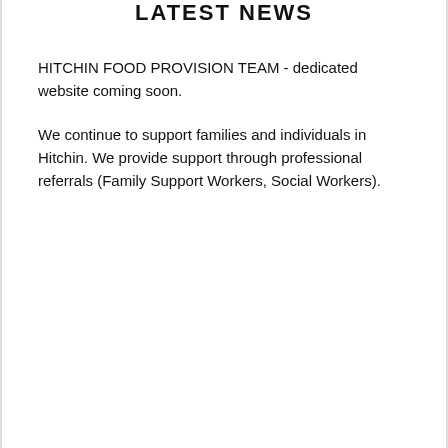LATEST NEWS
HITCHIN FOOD PROVISION TEAM - dedicated website coming soon.
We continue to support families and individuals in Hitchin. We provide support through professional referrals (Family Support Workers, Social Workers).